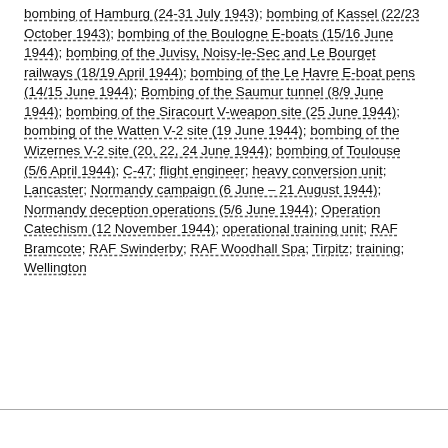bombing of Hamburg (24-31 July 1943); bombing of Kassel (22/23 October 1943); bombing of the Boulogne E-boats (15/16 June 1944); bombing of the Juvisy, Noisy-le-Sec and Le Bourget railways (18/19 April 1944); bombing of the Le Havre E-boat pens (14/15 June 1944); Bombing of the Saumur tunnel (8/9 June 1944); bombing of the Siracourt V-weapon site (25 June 1944); bombing of the Watten V-2 site (19 June 1944); bombing of the Wizernes V-2 site (20, 22, 24 June 1944); bombing of Toulouse (5/6 April 1944); C-47; flight engineer; heavy conversion unit; Lancaster; Normandy campaign (6 June – 21 August 1944); Normandy deception operations (5/6 June 1944); Operation Catechism (12 November 1944); operational training unit; RAF Bramcote; RAF Swinderby; RAF Woodhall Spa; Tirpitz; training; Wellington